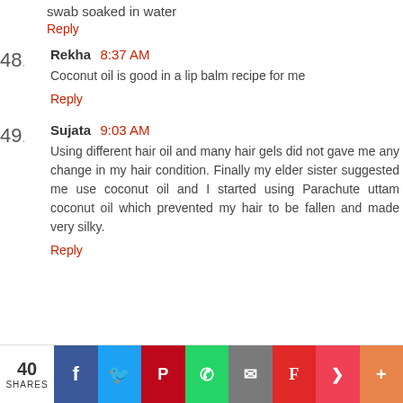swab soaked in water
Reply
48 — Rekha 8:37 AM
Coconut oil is good in a lip balm recipe for me
Reply
49 — Sujata 9:03 AM
Using different hair oil and many hair gels did not gave me any change in my hair condition. Finally my elder sister suggested me use coconut oil and I started using Parachute uttam coconut oil which prevented my hair to be fallen and made very silky.
Reply
40 SHARES | Facebook | Twitter | Pinterest | WhatsApp | Email | Flipboard | Pocket | Plus